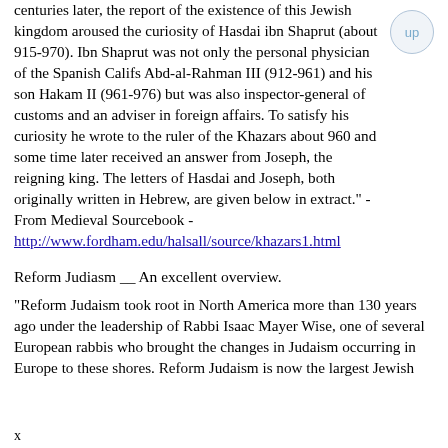centuries later, the report of the existence of this Jewish kingdom aroused the curiosity of Hasdai ibn Shaprut (about 915-970). Ibn Shaprut was not only the personal physician of the Spanish Califs Abd-al-Rahman III (912-961) and his son Hakam II (961-976) but was also inspector-general of customs and an adviser in foreign affairs. To satisfy his curiosity he wrote to the ruler of the Khazars about 960 and some time later received an answer from Joseph, the reigning king. The letters of Hasdai and Joseph, both originally written in Hebrew, are given below in extract." - From Medieval Sourcebook - http://www.fordham.edu/halsall/source/khazars1.html
Reform Judiasm __ An excellent overview.
"Reform Judaism took root in North America more than 130 years ago under the leadership of Rabbi Isaac Mayer Wise, one of several European rabbis who brought the changes in Judaism occurring in Europe to these shores. Reform Judaism is now the largest Jewish
x